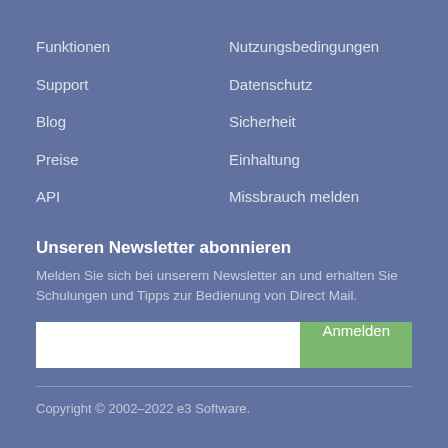Funktionen
Nutzungsbedingungen
Support
Datenschutz
Blog
Sicherheit
Preise
Einhaltung
API
Missbrauch melden
Unseren Newsletter abonnieren
Melden Sie sich bei unserem Newsletter an und erhalten Sie Schulungen und Tipps zur Bedienung von Direct Mail.
Copyright © 2002–2022 e3 Software.